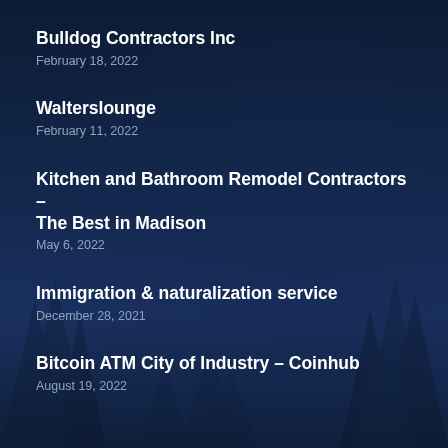Bulldog Contractors Inc
February 18, 2022
Walterslounge
February 11, 2022
Kitchen and Bathroom Remodel Contractors – The Best in Madison
May 6, 2022
Immigration & naturalization service
December 28, 2021
Bitcoin ATM City of Industry – Coinhub
August 19, 2022